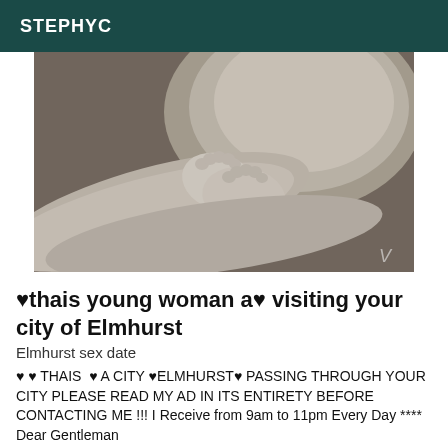STEPHYC
[Figure (photo): Black and white close-up photograph of baby feet resting on an adult arm, with a round object in the background]
♥thais young woman a♥ visiting your city of Elmhurst
Elmhurst sex date
♥ ♥ THAIS ♥ A CITY ♥ELMHURST♥ PASSING THROUGH YOUR CITY PLEASE READ MY AD IN ITS ENTIRETY BEFORE CONTACTING ME !!! I Receive from 9am to 11pm Every Day **** Dear Gentleman